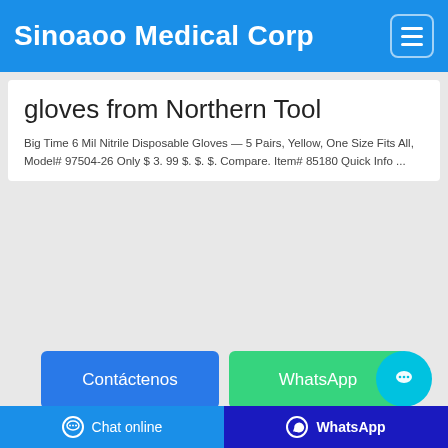Sinoaoo Medical Corp
gloves from Northern Tool
Big Time 6 Mil Nitrile Disposable Gloves — 5 Pairs, Yellow, One Size Fits All, Model# 97504-26 Only $ 3. 99 $. $. $. Compare. Item# 85180 Quick Info ...
Contáctenos | WhatsApp
$50
Chat online | WhatsApp